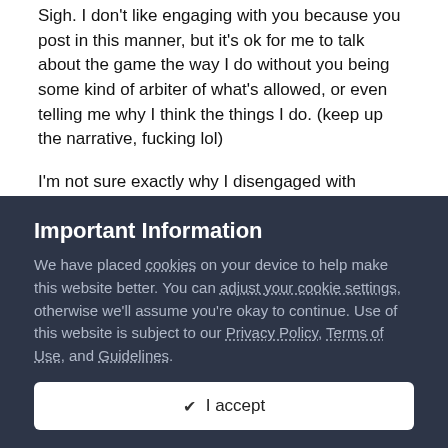Sigh. I don't like engaging with you because you post in this manner, but it's ok for me to talk about the game the way I do without you being some kind of arbiter of what's allowed, or even telling me why I think the things I do.  (keep up the narrative, fucking lol)
I'm not sure exactly why I disengaged with Cyberpunk, but having played both it and Deus Ex, something kept me going through DE but I stopped CP not long after the Act 1 heist in CP.   I found Cyberpunks combat systems are woefully meagre and unimpressive compared to DE, for one.
Important Information
We have placed cookies on your device to help make this website better. You can adjust your cookie settings, otherwise we'll assume you're okay to continue. Use of this website is subject to our Privacy Policy, Terms of Use, and Guidelines.
✔  I accept